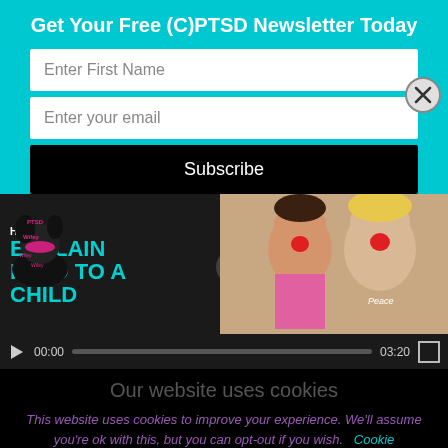Get Your Free (C)PTSD Newsletter Today
Enter First Name
Enter your email
Subscribe
[Figure (screenshot): Video thumbnail showing 'HOW TO EXPLAIN PTSD TO A CHILD' with PTSD Wifey logo on left and two people with red clown noses on right, with video playback controls showing 00:00 / 03:20]
Our website uses cookies
This website uses cookies to improve your experience. We'll assume you're ok with this, but you can opt-out if you wish. Cookie settings
Cookie settings      ACCEPT